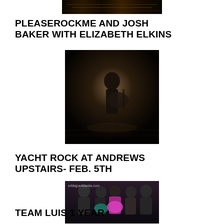[Figure (photo): Cropped top portion of a dark concert/event photo]
PLEASEROCKME AND JOSH BAKER WITH ELIZABETH ELKINS
[Figure (photo): Black and white photo of a musician playing guitar on stage, shot from above]
YACHT ROCK AT ANDREWS UPSTAIRS- FEB. 5TH
[Figure (photo): Color photo of a group of people at a party, wearing feather boas, with a watermark reading eAttajoeAttanta.com]
TEAM LUIS 1 YEAR